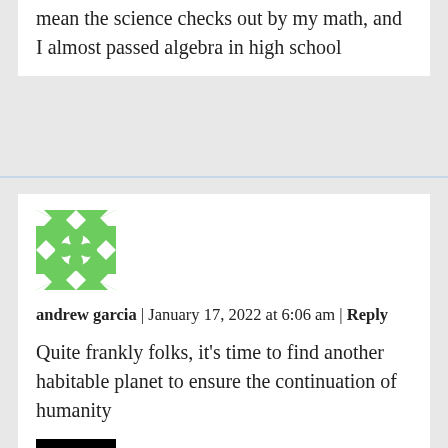mean the science checks out by my math, and I almost passed algebra in high school
[Figure (illustration): Green geometric avatar with star/flower pattern on white background]
andrew garcia | January 17, 2022 at 6:06 am | Reply
Quite frankly folks, it's time to find another habitable planet to ensure the continuation of humanity
[Figure (photo): Black and white photo of a person's face partially lit, high contrast]